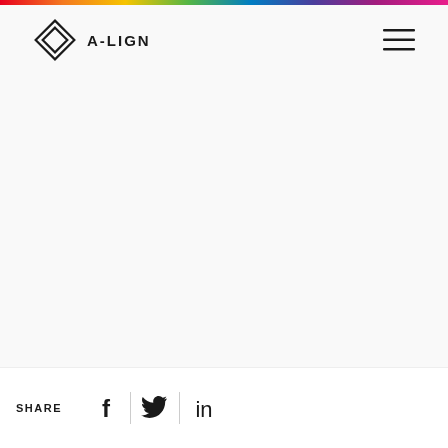[Figure (logo): A-LIGN company logo: diamond/rhombus shape icon followed by 'A-LIGN' text in bold uppercase]
[Figure (other): Hamburger menu icon (three horizontal lines) in top right corner]
SHARE
[Figure (other): Social media share icons: Facebook (f), Twitter (bird), LinkedIn (in), separated by vertical dividers]